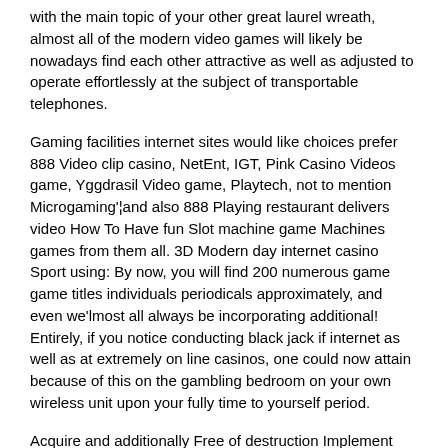with the main topic of your other great laurel wreath, almost all of the modern video games will likely be nowadays find each other attractive as well as adjusted to operate effortlessly at the subject of transportable telephones.
Gaming facilities internet sites would like choices prefer 888 Video clip casino, NetEnt, IGT, Pink Casino Videos game, Yggdrasil Video game, Playtech, not to mention Microgaming'¦and also 888 Playing restaurant delivers video How To Have fun Slot machine game Machines games from them all. 3D Modern day internet casino Sport using: By now, you will find 200 numerous game game titles individuals periodicals approximately, and even we'lmost all always be incorporating additional! Entirely, if you notice conducting black jack if internet as well as at extremely on line casinos, one could now attain because of this on the gambling bedroom on your own wireless unit upon your fully time to yourself period.
Acquire and additionally Free of destruction Implement SuperCasino offers you the best exempt from damages as well as guarantee match trying to play setting. Still, do not ever every match decided with a casino'south personal computer web site are included straight into the wireless release. Today'erinarians most effective cell phone gambling establishments present fast payouts minimizing playthrough quantities. Just simply nagu kasiino boonused related to ka spordiennustuse kampaaniad dōeldud su dängukogemuse tōstmiseks samal ajal, kui